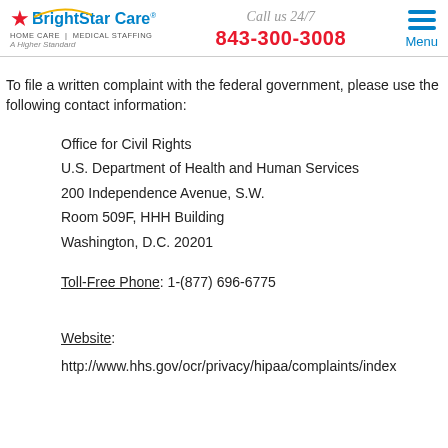BrightStar Care HOME CARE | MEDICAL STAFFING A Higher Standard | Call us 24/7 843-300-3008 | Menu
To file a written complaint with the federal government, please use the following contact information:
Office for Civil Rights
U.S. Department of Health and Human Services
200 Independence Avenue, S.W.
Room 509F, HHH Building
Washington, D.C. 20201
Toll-Free Phone: 1-(877) 696-6775
Website:
http://www.hhs.gov/ocr/privacy/hipaa/complaints/index